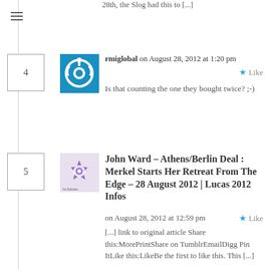28th, the Slog had this to [...]
rmiglobal on August 28, 2012 at 1:20 pm
Like
Is that counting the one they bought twice? ;-)
John Ward – Athens/Berlin Deal : Merkel Starts Her Retreat From The Edge – 28 August 2012 | Lucas 2012 Infos on August 28, 2012 at 12:59 pm
Like
[...] link to original article Share this:MorePrintShare on TumblrEmailDigg Pin ItLike this:LikeBe the first to like this. This [...]